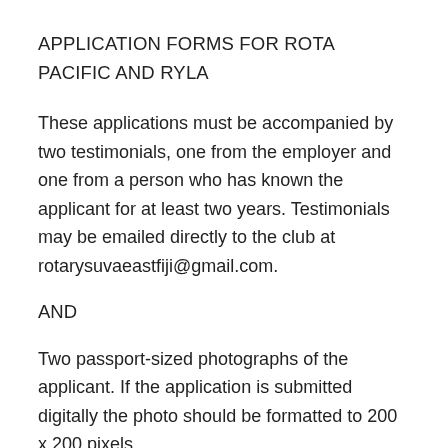APPLICATION FORMS FOR ROTA PACIFIC AND RYLA
These applications must be accompanied by two testimonials, one from the employer and one from a person who has known the applicant for at least two years. Testimonials may be emailed directly to the club at rotarysuvaeastfiji@gmail.com.
AND
Two passport-sized photographs of the applicant. If the application is submitted digitally the photo should be formatted to 200 x 200 pixels.
The tour takes place in June/July 2019 You will be informed by 15 March 2019 if you have been successful; if you are selected you must then secure a visa for your